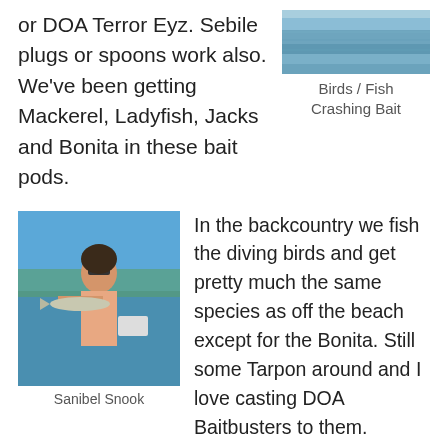or DOA Terror Eyz. Sebile plugs or spoons work also. We've been getting Mackerel, Ladyfish, Jacks and Bonita in these bait pods.
[Figure (photo): Water surface showing birds and fish crashing bait]
Birds / Fish Crashing Bait
[Figure (photo): Woman on a boat holding a Sanibel Snook fish]
Sanibel Snook
In the backcountry we fish the diving birds and get pretty much the same species as off the beach except for the Bonita. Still some Tarpon around and I love casting DOA Baitbusters to them.
Redfish fishing continues to be good and gets better every day. We've fished and have seen some